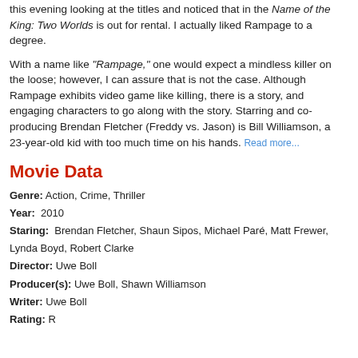this evening looking at the titles and noticed that in the Name of the King: Two Worlds is out for rental. I actually liked Rampage to a degree.
With a name like "Rampage," one would expect a mindless killer on the loose; however, I can assure that is not the case. Although Rampage exhibits video game like killing, there is a story, and engaging characters to go along with the story. Starring and co-producing Brendan Fletcher (Freddy vs. Jason) is Bill Williamson, a 23-year-old kid with too much time on his hands. Read more...
Movie Data
Genre: Action, Crime, Thriller
Year: 2010
Staring: Brendan Fletcher, Shaun Sipos, Michael Paré, Matt Frewer, Lynda Boyd, Robert Clarke
Director: Uwe Boll
Producer(s): Uwe Boll, Shawn Williamson
Writer: Uwe Boll
Rating: R